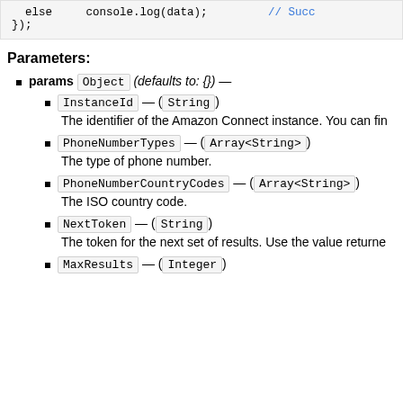else   console.log(data);  // Succ
});
Parameters:
params (Object) (defaults to: {}) —
InstanceId — (String)
The identifier of the Amazon Connect instance. You can fin
PhoneNumberTypes — (Array<String>)
The type of phone number.
PhoneNumberCountryCodes — (Array<String>)
The ISO country code.
NextToken — (String)
The token for the next set of results. Use the value returne
MaxResults — (Integer)